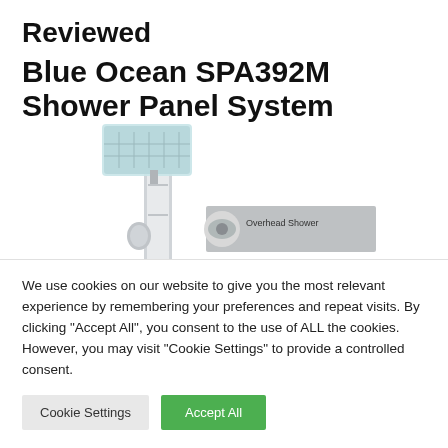Reviewed
Blue Ocean SPA392M Shower Panel System
[Figure (photo): Product photo of the Blue Ocean SPA392M Shower Panel System showing a tall chrome shower panel with overhead rain shower head, handheld shower, and a callout graphic labeled 'Overhead Shower'.]
We use cookies on our website to give you the most relevant experience by remembering your preferences and repeat visits. By clicking "Accept All", you consent to the use of ALL the cookies. However, you may visit "Cookie Settings" to provide a controlled consent.
Cookie Settings | Accept All